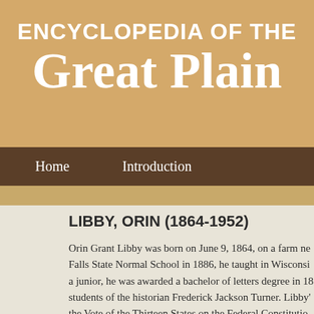ENCYCLOPEDIA OF THE Great Plain
Home  Introduction
LIBBY, ORIN (1864-1952)
Orin Grant Libby was born on June 9, 1864, on a farm ne Falls State Normal School in 1886, he taught in Wisconsi a junior, he was awarded a bachelor of letters degree in 18 students of the historian Frederick Jackson Turner. Libby' the Vote of the Thirteen States on the Federal Constitutio made to the interpretation of the movement for the federa
After receiving his doctorate in 1895, Libby remained at pursuing his interests in birds and bird migration. In 1902